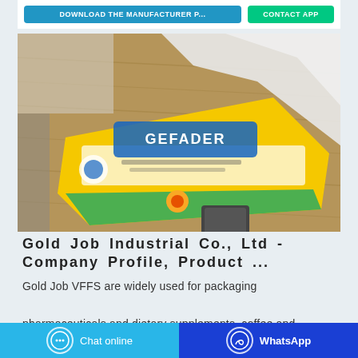[Figure (photo): Product photo of a yellow detergent/laundry powder bag (labeled Gefader or similar) lying on a wooden table with white fabric in the background]
Gold Job Industrial Co., Ltd - Company Profile, Product ...
Gold Job VFFS are widely used for packaging pharmaceuticals and dietary supplements, coffee and drink powder, to detergent and chemicals, and much more. We provide service for setting up integrated
Chat online   WhatsApp